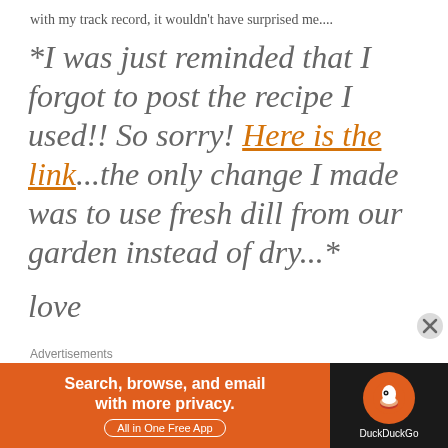with my track record, it wouldn't have surprised me....
*I was just reminded that I forgot to post the recipe I used!! So sorry! Here is the link...the only change I made was to use fresh dill from our garden instead of dry...*
love
Advertisements
[Figure (screenshot): DuckDuckGo advertisement banner: orange left section with text 'Search, browse, and email with more privacy.' and 'All in One Free App' button; dark right section with DuckDuckGo logo and wordmark.]